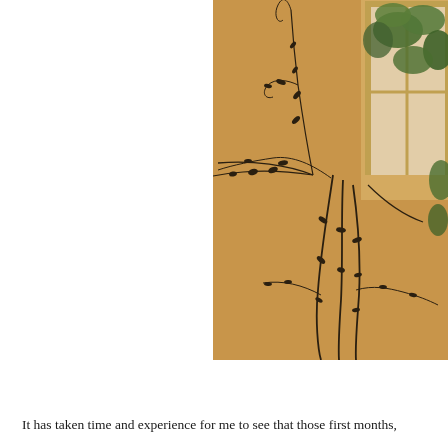[Figure (photo): Photograph of an indoor room corner showing a yellow-orange wall with a window in the upper right. Climbing plant vines with small dark leaves spread across the warm-toned wall, with lush green foliage visible through and around the window frame.]
It has taken time and experience for me to see that those first months,